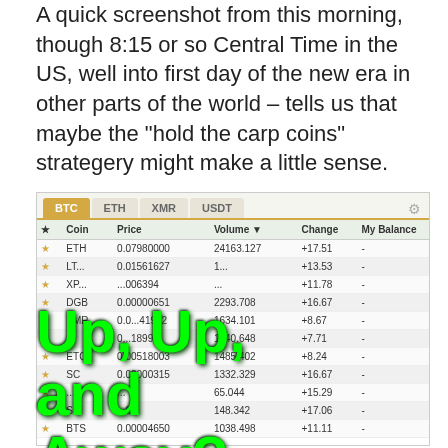A quick screenshot from this morning, though 8:15 or so Central Time in the US, well into first day of the new era in other parts of the world – tells us that maybe the "hold the carp coins" strategery might make a little sense.
[Figure (screenshot): Cryptocurrency exchange screenshot showing BTC/ETH/XMR/USDT tabs with a table of coins including ETH, LTC, XRP, DGB, XMR, ETC, SC, and BTS with prices, volumes, changes, and balances. Overlaid with large green text reading 'Up, Up, and Away?']
| ★ | Coin | Price | Volume ▼ | Change | My Balance |
| --- | --- | --- | --- | --- | --- |
| ★ | ETH | 0.07980000 | 24163.127 | +17.51 | - |
| ★ | LTC | 0.01561627 | ... | +13.53 | - |
| ★ | XRP | ...006394 | ... | +11.78 | - |
| ★ | DGB | 0.00000651 | 2293.708 | +16.67 | - |
| ★ | XMR | 0.0...41932 | 1634.101 | +8.67 | - |
|  | ... | 0...18991 | 1540.648 | +7.71 | - |
| ★ | ETC | 0.00518003 | 1485.402 | +8.24 | - |
| ★ | SC | 0.00000315 | 1332.329 | +16.67 | - |
| ★ | ... | ... | 65.044 | +15.29 | - |
|  | S... | ...02 | 148.342 | +17.06 | - |
| ★ | BTS | 0.00004650 | 1038.498 | +11.11 | - |